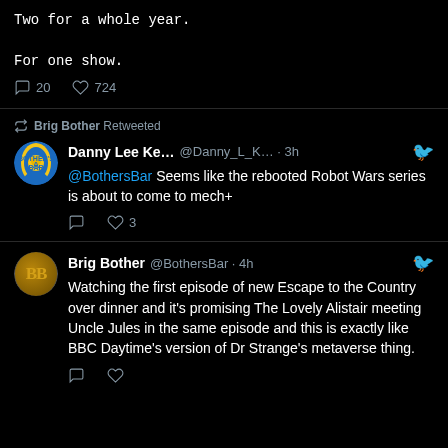Two for a whole year.

For one show.
20 replies, 724 likes
Brig Bother Retweeted
Danny Lee Ke... @Danny_L_K... · 3h @BothersBar Seems like the rebooted Robot Wars series is about to come to mech+
3 likes
Brig Bother @BothersBar · 4h Watching the first episode of new Escape to the Country over dinner and it's promising The Lovely Alistair meeting Uncle Jules in the same episode and this is exactly like BBC Daytime's version of Dr Strange's metaverse thing.